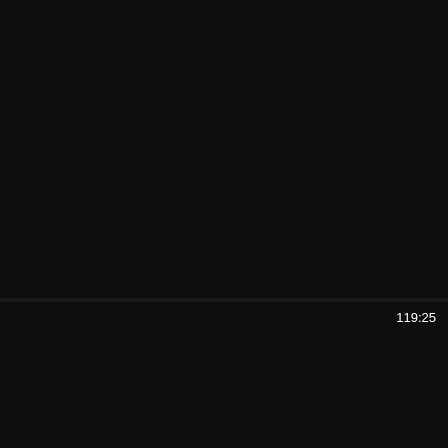[Figure (screenshot): Dark/black video thumbnail for first video card]
Business trip with my damsel boss!
Straight > Asian > Japanese >
[Figure (screenshot): Dark/black video thumbnail for second video card]
119:25